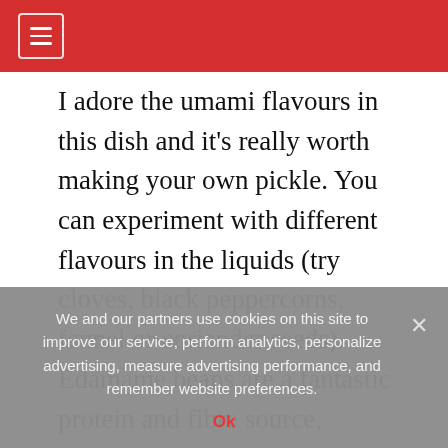≡
I adore the umami flavours in this dish and it's really worth making your own pickle. You can experiment with different flavours in the liquids (try cloves, black peppercorns, fennel or coriander seeds). Edamame beans are a fantastic protein and fibre source, though you can use frozen or freshly podded broad beans.
[Figure (photo): A bowl of Asian-style rice dish with skewered grilled vegetables/meat, pickled radishes, edamame beans, sliced carrots and cucumber, with chopsticks resting on the bowl. A plate with radishes, edamame and cherry tomatoes visible in the upper left.]
We and our partners use cookies on this site to improve our service, perform analytics, personalize advertising, measure advertising performance, and remember website preferences.
Ok